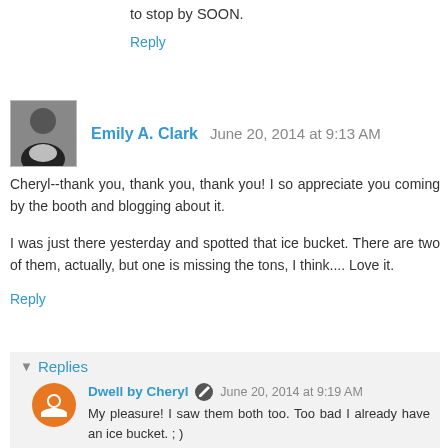to stop by SOON.
Reply
Emily A. Clark  June 20, 2014 at 9:13 AM
Cheryl--thank you, thank you, thank you! I so appreciate you coming by the booth and blogging about it.

I was just there yesterday and spotted that ice bucket. There are two of them, actually, but one is missing the tons, I think.... Love it.
Reply
▼ Replies
Dwell by Cheryl  June 20, 2014 at 9:19 AM
My pleasure! I saw them both too. Too bad I already have an ice bucket. ; )
Reply